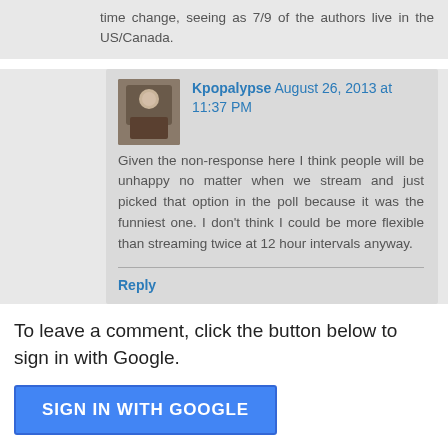time change, seeing as 7/9 of the authors live in the US/Canada.
Kpopalypse August 26, 2013 at 11:37 PM
Given the non-response here I think people will be unhappy no matter when we stream and just picked that option in the poll because it was the funniest one. I don't think I could be more flexible than streaming twice at 12 hour intervals anyway.
Reply
To leave a comment, click the button below to sign in with Google.
[Figure (other): Blue 'SIGN IN WITH GOOGLE' button]
Note: Only a member of this blog may post a comment.